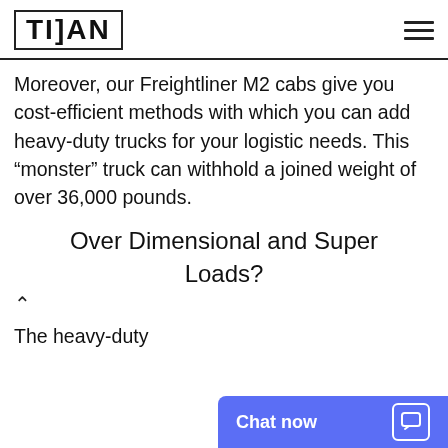TITAN
Moreover, our Freightliner M2 cabs give you cost-efficient methods with which you can add heavy-duty trucks for your logistic needs. This “monster” truck can withhold a joined weight of over 36,000 pounds.
Over Dimensional and Super Loads?
The heavy-duty